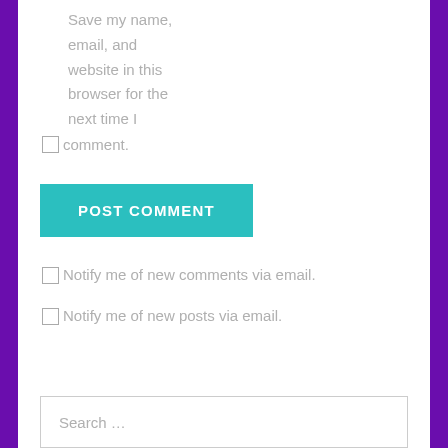Save my name, email, and website in this browser for the next time I comment.
POST COMMENT
Notify me of new comments via email.
Notify me of new posts via email.
Search …